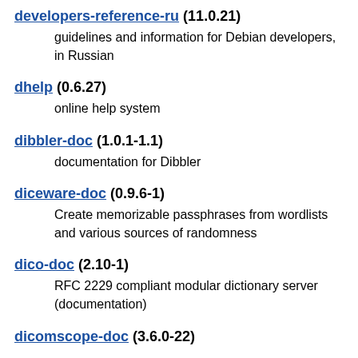developers-reference-ru (11.0.21)
guide lines and information for Debian developers, in Russian
dhelp (0.6.27)
online help system
dibbler-doc (1.0.1-1.1)
documentation for Dibbler
diceware-doc (0.9.6-1)
Create memorizable passphrases from wordlists and various sources of randomness
dico-doc (2.10-1)
RFC 2229 compliant modular dictionary server (documentation)
dicomscope-doc (3.6.0-22)